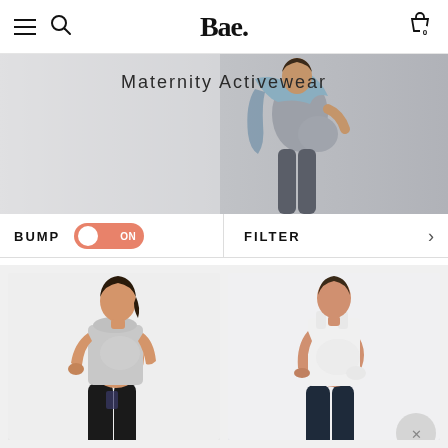Bae.
[Figure (photo): Hero banner showing a pregnant woman wearing grey cycling shorts and a light blue top, with text overlay 'Maternity Activewear']
Maternity Activewear
BUMP ON | FILTER >
[Figure (photo): Pregnant woman wearing a grey t-shirt and black maternity leggings with phone pocket, side profile view]
[Figure (photo): Pregnant woman wearing a white tank top and navy maternity leggings, side profile view]